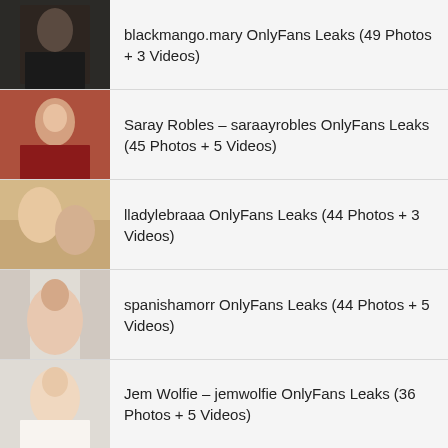blackmango.mary OnlyFans Leaks (49 Photos + 3 Videos)
Saray Robles – saraayrobles OnlyFans Leaks (45 Photos + 5 Videos)
lladylebraaa OnlyFans Leaks (44 Photos + 3 Videos)
spanishamorr OnlyFans Leaks (44 Photos + 5 Videos)
Jem Wolfie – jemwolfie OnlyFans Leaks (36 Photos + 5 Videos)